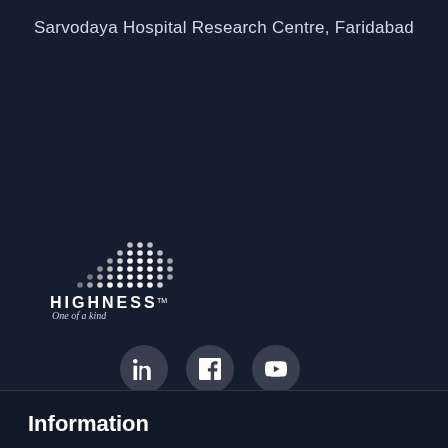Sarvodaya Hospital Research Centre, Faridabad
[Figure (logo): Highness brand logo with dot-grid pattern above text reading HIGHNESS TM and tagline 'One of a kind']
[Figure (infographic): Three social media circular icon buttons: LinkedIn, Facebook, YouTube]
Information